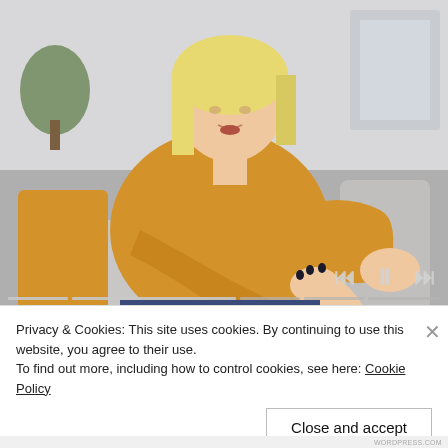[Figure (photo): A blonde woman in a yellow knit sweater sitting on a grey sofa, looking down and scratching her elbow/forearm. Video player interface with progress bar segments and media controls (skip back, pause, skip forward) visible at bottom right. A video title overlay reads 'How Stress Affects Psoriasis'.]
How Stress Affects Psoriasis
Privacy & Cookies: This site uses cookies. By continuing to use this website, you agree to their use.
To find out more, including how to control cookies, see here: Cookie Policy
Close and accept